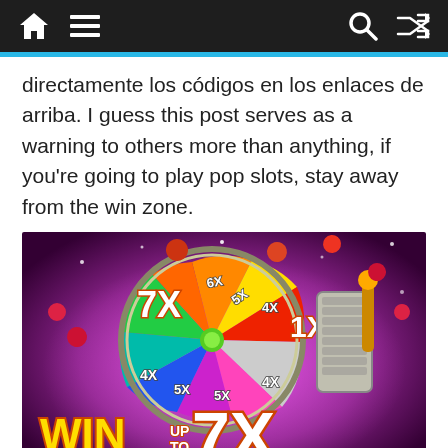Navigation bar with home, menu, search and shuffle icons
directamente los códigos en los enlaces de arriba. I guess this post serves as a warning to others more than anything, if you're going to play pop slots, stay away from the win zone.
[Figure (illustration): Pop Slots game promotional image showing a colorful spin wheel with multiplier values (7x, 4x, 5x, 1x, etc.) and text reading 'WIN UP TO 7X IN THE STORE!' on a purple glowing background with coins and chips.]